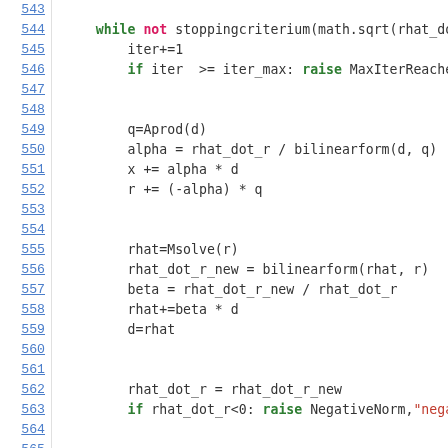[Figure (screenshot): Python source code snippet showing lines 543-565 of a conjugate gradient solver implementation, with syntax highlighting: line numbers in blue on the left, keywords in green/pink/purple, strings in red, code in dark/black.]